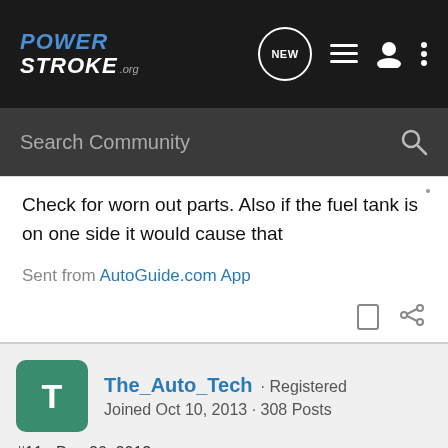[Figure (screenshot): PowerStroke.org forum website navigation bar with logo, NEW message button, list icon, user icon, and more options icon]
[Figure (screenshot): Search Community search bar with magnifying glass icon]
Check for worn out parts. Also if the fuel tank is on one side it would cause that
Sent from AutoGuide.com App
The_Auto_Tech · Registered
Joined Oct 10, 2013 · 308 Posts
#11 · Dec 26, 2013